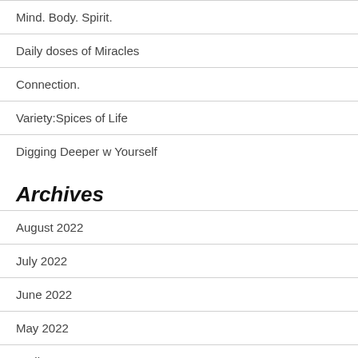Mind. Body. Spirit.
Daily doses of Miracles
Connection.
Variety:Spices of Life
Digging Deeper w Yourself
Archives
August 2022
July 2022
June 2022
May 2022
April 2022